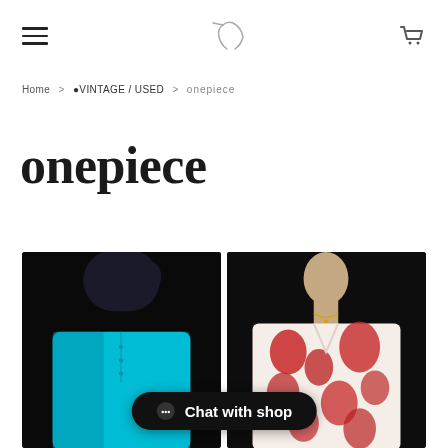Navigation bar with hamburger menu, logo, and cart icon
Home > ●VINTAGE / USED > onepiece
onepiece
[Figure (photo): Two fashion product photos side by side: left photo shows a person in a teal/cyan oversized short-sleeve shirt against a dark background; right photo shows a person in a red and white floral/botanical print short-sleeve top against a dark background.]
Chat with shop